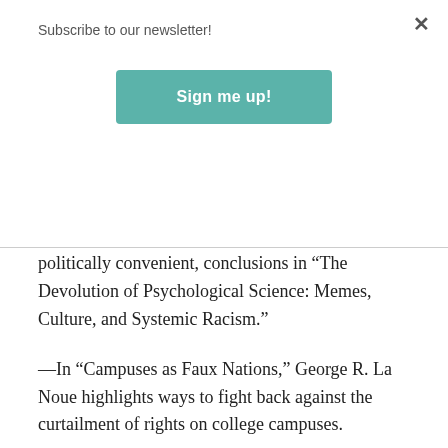Subscribe to our newsletter!
Sign me up!
politically convenient, conclusions in “The Devolution of Psychological Science: Memes, Culture, and Systemic Racism.”
—In “Campuses as Faux Nations,” George R. La Noue highlights ways to fight back against the curtailment of rights on college campuses.
—Dan Subotnik talks back to a sensitivity training session in “Fair or Foul in Interracial